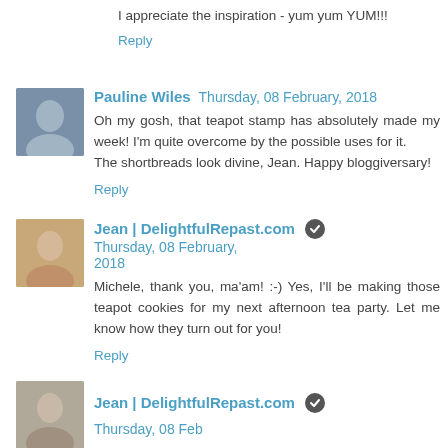I appreciate the inspiration - yum yum YUM!!!
Reply
Pauline Wiles  Thursday, 08 February, 2018
Oh my gosh, that teapot stamp has absolutely made my week! I'm quite overcome by the possible uses for it. The shortbreads look divine, Jean. Happy bloggiversary!
Reply
Jean | DelightfulRepast.com  Thursday, 08 February, 2018
Michele, thank you, ma'am! :-) Yes, I'll be making those teapot cookies for my next afternoon tea party. Let me know how they turn out for you!
Reply
Jean | DelightfulRepast.com  Thursday, 08 Feb